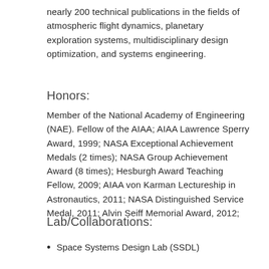nearly 200 technical publications in the fields of atmospheric flight dynamics, planetary exploration systems, multidisciplinary design optimization, and systems engineering.
Honors:
Member of the National Academy of Engineering (NAE). Fellow of the AIAA; AIAA Lawrence Sperry Award, 1999; NASA Exceptional Achievement Medals (2 times); NASA Group Achievement Award (8 times); Hesburgh Award Teaching Fellow, 2009; AIAA von Karman Lectureship in Astronautics, 2011; NASA Distinguished Service Medal, 2011; Alvin Seiff Memorial Award, 2012;
Lab/Collaborations:
Space Systems Design Lab (SSDL)